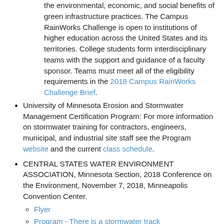the environmental, economic, and social benefits of green infrastructure practices. The Campus RainWorks Challenge is open to institutions of higher education across the United States and its territories. College students form interdisciplinary teams with the support and guidance of a faculty sponsor. Teams must meet all of the eligibility requirements in the 2018 Campus RainWorks Challenge Brief.
University of Minnesota Erosion and Stormwater Management Certification Program: For more information on stormwater training for contractors, engineers, municipal, and industrial site staff see the Program website and the current class schedule.
CENTRAL STATES WATER ENVIRONMENT ASSOCIATION, Minnesota Section, 2018 Conference on the Environment, November 7, 2018, Minneapolis Convention Center.
Flyer
Program - There is a stormwater track
Registration.
Oct. 25, 2018: Freshwater Society 50th anniversary, Minnesota History Center
2018 Minnesota Water Resources Conference: October 16–